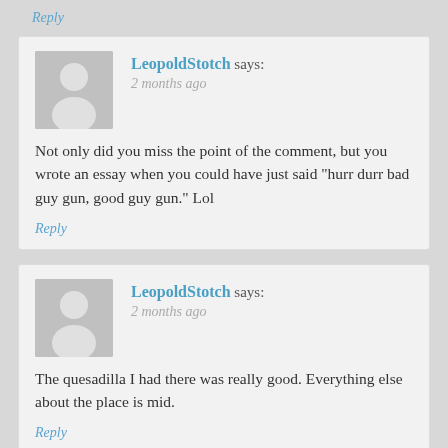Reply
LeopoldStotch says: 2 months ago
Not only did you miss the point of the comment, but you wrote an essay when you could have just said "hurr durr bad guy gun, good guy gun." Lol
Reply
LeopoldStotch says: 2 months ago
The quesadilla I had there was really good. Everything else about the place is mid.
Reply